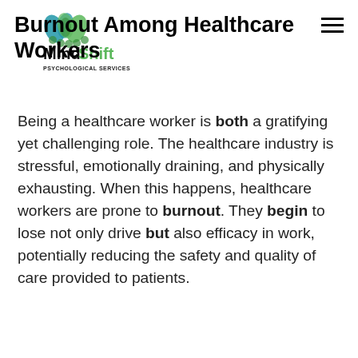Burnout Among Healthcare Workers
[Figure (logo): MindShift Psychological Services logo with blue and green decorative emblem and green/black text]
Being a healthcare worker is both a gratifying yet challenging role. The healthcare industry is stressful, emotionally draining, and physically exhausting. When this happens, healthcare workers are prone to burnout. They begin to lose not only drive but also efficacy in work, potentially reducing the safety and quality of care provided to patients.